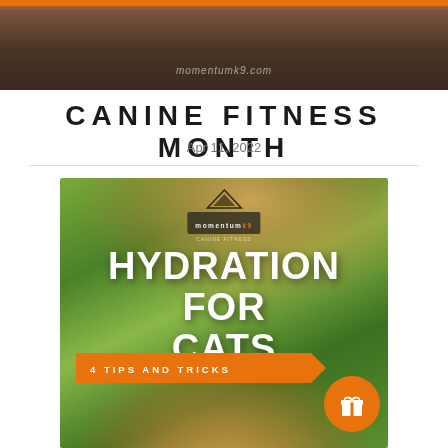[Figure (photo): Top banner image showing a dark-haired person from behind with an orange top bar and momentumk9.com text overlay]
CANINE FITNESS MONTH
Apr 11, 2022
[Figure (infographic): Infographic image showing a fluffy orange/cream cat in the foreground against a green bokeh background, with a Momentum logo at top, large white text 'HYDRATION FOR CATS', and an orange ribbon banner reading '4 TIPS AND TRICKS'. An orange circle gift icon appears in the bottom right corner.]